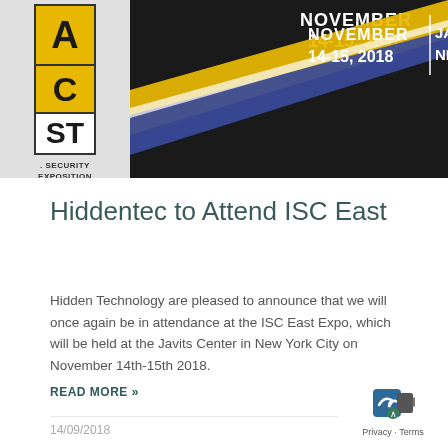[Figure (photo): ISC East 2018 banner showing event dates November 14-15, 2018 at Javits Center New York, with diagonal gold and blue stripes on dark background and ISC East logo on left]
Hiddentec to Attend ISC East
Hidden Technology are pleased to announce that we will once again be in attendance at the ISC East Expo, which will be held at the Javits Center in New York City on November 14th-15th 2018.
READ MORE »
14/09/2018